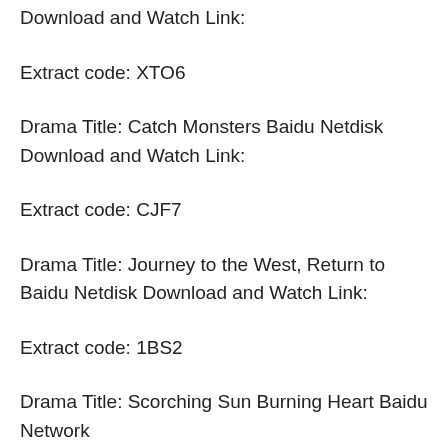Download and Watch Link:
Extract code: XTO6
Drama Title: Catch Monsters Baidu Netdisk Download and Watch Link:
Extract code: CJF7
Drama Title: Journey to the West, Return to Baidu Netdisk Download and Watch Link:
Extract code: 1BS2
Drama Title: Scorching Sun Burning Heart Baidu Network